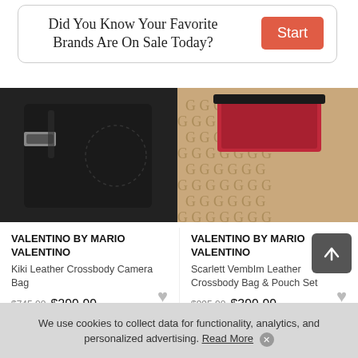Did You Know Your Favorite Brands Are On Sale Today?
[Figure (screenshot): Promotional banner with 'Start' button in red/orange]
[Figure (photo): Two luxury handbags: left is a black leather Valentino crossbody camera bag, right is a brown monogram Valentino crossbody bag with red interior showing]
VALENTINO BY MARIO VALENTINO
Kiki Leather Crossbody Camera Bag
$745.00 $299.99
VALENTINO BY MARIO VALENTINO
Scarlett VembIm Leather Crossbody Bag & Pouch Set
$995.00 $399.99
We use cookies to collect data for functionality, analytics, and personalized advertising. Read More